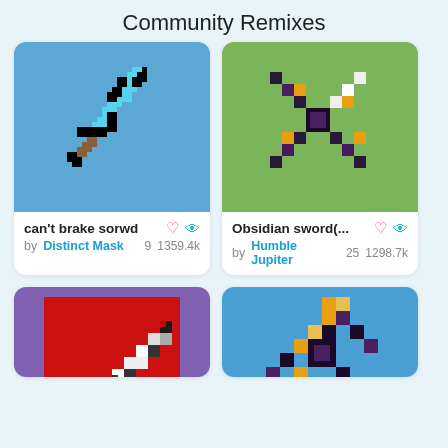Community Remixes
[Figure (illustration): Pixel art of a diamond sword on blue background]
can't brake sorwd
by Distinct Mask  9  1359.4k
[Figure (illustration): Pixel art of an obsidian sword on green background]
Obsidian sword(...
by Humble Jupiter  25  1298.7k
[Figure (illustration): Pixel art of a black and white sword on red background with purple border]
[Figure (illustration): Pixel art of a gold and purple sword on blue background]